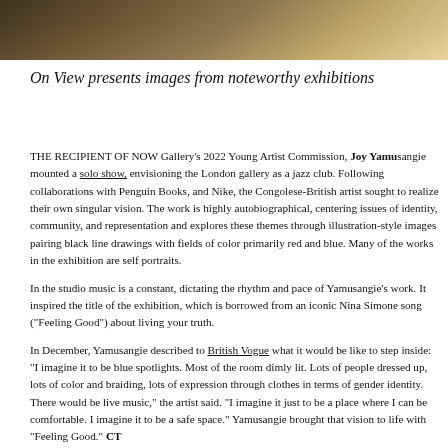[Figure (photo): Partial photograph visible at top of page, warm brown/golden tones, appears to be a portrait or studio scene]
On View presents images from noteworthy exhibitions
THE RECIPIENT OF NOW Gallery's 2022 Young Artist Commission, Joy Yamusangie mounted a solo show, envisioning the London gallery as a jazz club. Following collaborations with Penguin Books, and Nike, the Congolese-British artist sought to realize their own singular vision. The work is highly autobiographical, centering issues of identity, community, and representation and explores these themes through illustration-style images pairing black line drawings with fields of color—primarily red and blue. Many of the works in the exhibition are self portraits.
In the studio music is a constant, dictating the rhythm and pace of Yamusangie's work. It inspired the title of the exhibition, which is borrowed from an iconic Nina Simone song ("Feeling Good") about living your truth.
In December, Yamusangie described to British Vogue what it would be like to step inside: "I imagine it to be blue spotlights. Most of the room dimly lit. Lots of people dressed up, lots of color and braiding, lots of expression through clothes in terms of gender identity. There would be live music," the artist said. "I imagine it just to be a place where I can be comfortable. I imagine it to be a safe space." Yamusangie brought that vision to life with "Feeling Good." CT